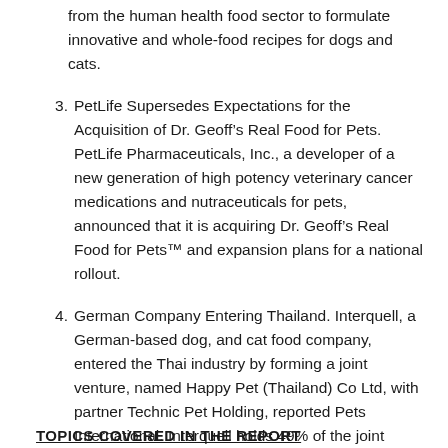from the human health food sector to formulate innovative and whole-food recipes for dogs and cats.
3. PetLife Supersedes Expectations for the Acquisition of Dr. Geoff’s Real Food for Pets. PetLife Pharmaceuticals, Inc., a developer of a new generation of high potency veterinary cancer medications and nutraceuticals for pets, announced that it is acquiring Dr. Geoff’s Real Food for Pets™ and expansion plans for a national rollout.
4. German Company Entering Thailand. Interquell, a German-based dog, and cat food company, entered the Thai industry by forming a joint venture, named Happy Pet (Thailand) Co Ltd, with partner Technic Pet Holding, reported Pets International. Interquell holds 49% of the joint venture. Interquell owns the Happy Dog and Happy Cat premium brands.
TOPICS COVERED IN THE REPORT